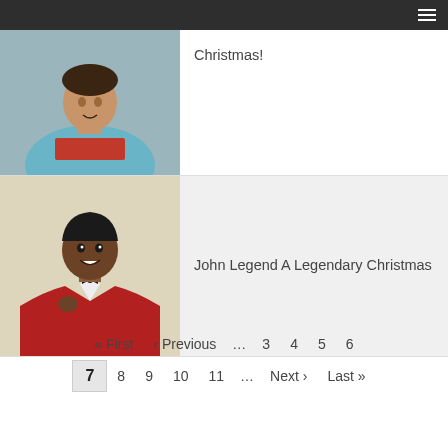Navigation menu header bar
[Figure (photo): Photo of a woman in a light blue top with red belt/sash against a grey background (partial, cropped)]
Christmas!
[Figure (photo): Photo of John Legend wearing a red tuxedo jacket with a black bow tie, against a neutral background]
John Legend A Legendary Christmas
« First  ‹ Previous  …  3  4  5  6
7  8  9  10  11  …  Next ›  Last »